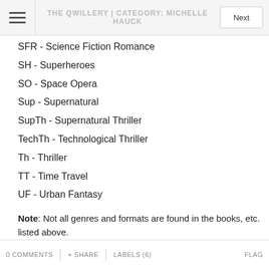THE QWILLERY | CATEGORY: MICHELLE HAUCK
SFR - Science Fiction Romance
SH - Superheroes
SO - Space Opera
Sup - Supernatural
SupTh - Supernatural Thriller
TechTh - Technological Thriller
Th - Thriller
TT - Time Travel
UF - Urban Fantasy
Note: Not all genres and formats are found in the books, etc. listed above.
Source: qwillery.blogspot.com
0 COMMENTS  + SHARE  LABELS (6)  FLAG